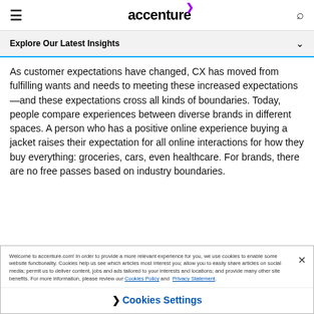accenture
Explore Our Latest Insights
As customer expectations have changed, CX has moved from fulfilling wants and needs to meeting these increased expectations—and these expectations cross all kinds of boundaries. Today, people compare experiences between diverse brands in different spaces. A person who has a positive online experience buying a jacket raises their expectation for all online interactions for how they buy everything: groceries, cars, even healthcare. For brands, there are no free passes based on industry boundaries.
Welcome to accenture.com! In order to provide a more relevant experience for you, we use cookies to enable some website functionality. Cookies help us see which articles most interest you; allow you to easily share articles on social media; permit us to deliver content, jobs and ads tailored to your interests and locations; and provide many other site benefits. For more information, please review our Cookies Policy and Privacy Statement.
Cookies Settings